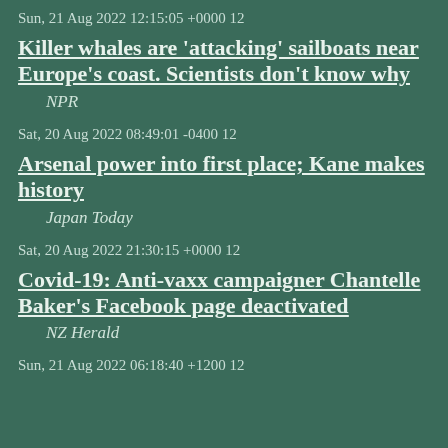Sun, 21 Aug 2022 12:15:05 +0000 12
Killer whales are 'attacking' sailboats near Europe's coast. Scientists don't know why
NPR
Sat, 20 Aug 2022 08:49:01 -0400 12
Arsenal power into first place; Kane makes history
Japan Today
Sat, 20 Aug 2022 21:30:15 +0000 12
Covid-19: Anti-vaxx campaigner Chantelle Baker's Facebook page deactivated
NZ Herald
Sun, 21 Aug 2022 06:18:40 +1200 12